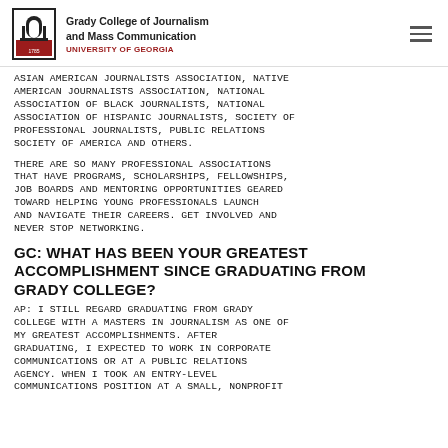Grady College of Journalism and Mass Communication UNIVERSITY OF GEORGIA
ASIAN AMERICAN JOURNALISTS ASSOCIATION, NATIVE AMERICAN JOURNALISTS ASSOCIATION, NATIONAL ASSOCIATION OF BLACK JOURNALISTS, NATIONAL ASSOCIATION OF HISPANIC JOURNALISTS, SOCIETY OF PROFESSIONAL JOURNALISTS, PUBLIC RELATIONS SOCIETY OF AMERICA AND OTHERS.
THERE ARE SO MANY PROFESSIONAL ASSOCIATIONS THAT HAVE PROGRAMS, SCHOLARSHIPS, FELLOWSHIPS, JOB BOARDS AND MENTORING OPPORTUNITIES GEARED TOWARD HELPING YOUNG PROFESSIONALS LAUNCH AND NAVIGATE THEIR CAREERS. GET INVOLVED AND NEVER STOP NETWORKING.
GC: WHAT HAS BEEN YOUR GREATEST ACCOMPLISHMENT SINCE GRADUATING FROM GRADY COLLEGE?
AP: I STILL REGARD GRADUATING FROM GRADY COLLEGE WITH A MASTERS IN JOURNALISM AS ONE OF MY GREATEST ACCOMPLISHMENTS. AFTER GRADUATING, I EXPECTED TO WORK IN CORPORATE COMMUNICATIONS OR AT A PUBLIC RELATIONS AGENCY. WHEN I TOOK AN ENTRY-LEVEL COMMUNICATIONS POSITION AT A SMALL, NONPROFIT